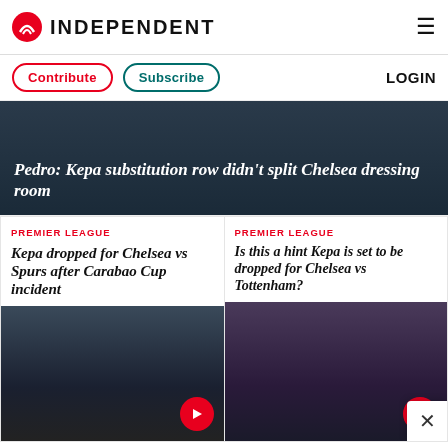INDEPENDENT
Contribute  Subscribe  LOGIN
Pedro: Kepa substitution row didn't split Chelsea dressing room
PREMIER LEAGUE
Kepa dropped for Chelsea vs Spurs after Carabao Cup incident
PREMIER LEAGUE
Is this a hint Kepa is set to be dropped for Chelsea vs Tottenham?